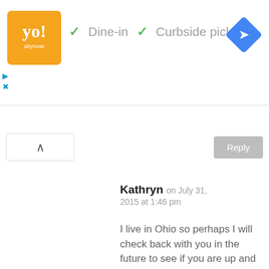[Figure (logo): Restaurant logo - orange/yellow square with stylized text]
✓ Dine-in  ✓ Curbside pickup
[Figure (infographic): Blue diamond navigation/directions icon]
Reply
Kathryn on July 31, 2015 at 1:46 pm
I live in Ohio so perhaps I will check back with you in the future to see if you are up and running again:) I met you inside the Marina at the end of May (I was the silly one who started crying I was sooooo excited to see you). If not, I will